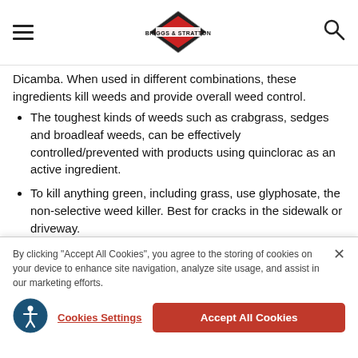Briggs & Stratton logo with hamburger menu and search icon
Dicamba. When used in different combinations, these ingredients kill weeds and provide overall weed control.
The toughest kinds of weeds such as crabgrass, sedges and broadleaf weeds, can be effectively controlled/prevented with products using quinclorac as an active ingredient.
To kill anything green, including grass, use glyphosate, the non-selective weed killer. Best for cracks in the sidewalk or driveway.
Carefully follow all safety precautions for all herbicides used.
While herbicides are one option, another alternative to weed control is
By clicking "Accept All Cookies", you agree to the storing of cookies on your device to enhance site navigation, analyze site usage, and assist in our marketing efforts.
Cookies Settings
Accept All Cookies